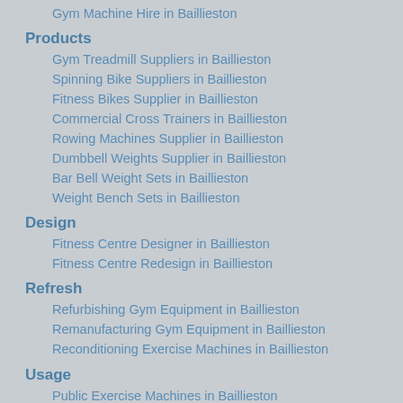Gym Machine Hire in Baillieston
Products
Gym Treadmill Suppliers in Baillieston
Spinning Bike Suppliers in Baillieston
Fitness Bikes Supplier in Baillieston
Commercial Cross Trainers in Baillieston
Rowing Machines Supplier in Baillieston
Dumbbell Weights Supplier in Baillieston
Bar Bell Weight Sets in Baillieston
Weight Bench Sets in Baillieston
Design
Fitness Centre Designer in Baillieston
Fitness Centre Redesign in Baillieston
Refresh
Refurbishing Gym Equipment in Baillieston
Remanufacturing Gym Equipment in Baillieston
Reconditioning Exercise Machines in Baillieston
Usage
Public Exercise Machines in Baillieston
Schools Fitness Equipment in Baillieston
Prison Exercise Equipment in Baillieston
Personal Trainer Experts in Baillieston